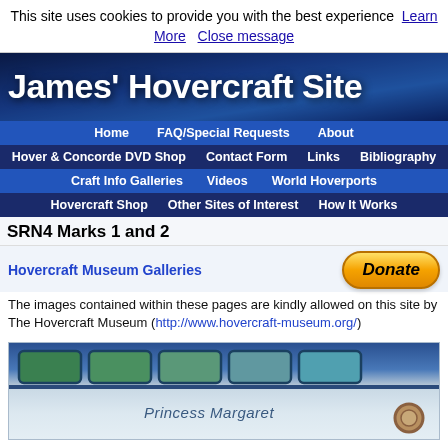This site uses cookies to provide you with the best experience  Learn More   Close message
[Figure (illustration): James' Hovercraft Site banner with blue hovercraft background image and white bold title text]
Home   FAQ/Special Requests   About   Hover & Concorde DVD Shop   Contact Form   Links   Bibliography   Craft Info Galleries   Videos   World Hoverports   Hovercraft Shop   Other Sites of Interest   How It Works
SRN4 Marks 1 and 2
Hovercraft Museum Galleries
The images contained within these pages are kindly allowed on this site by The Hovercraft Museum (http://www.hovercraft-museum.org/)
[Figure (photo): Photo of hovercraft craft named Princess Margaret showing windows along the top and text label on white hull]